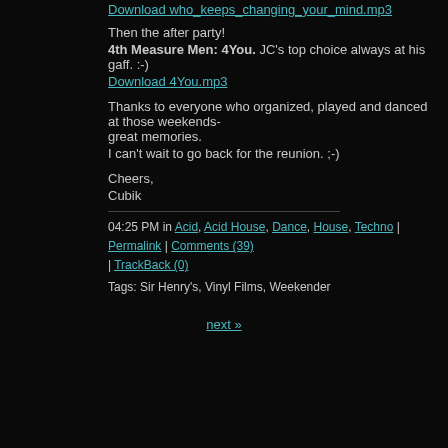Download who_keeps_changing_your_mind.mp3
Then the after party!
4th Measure Men: 4You. JC's top choice always at his gaff. :-)
Download 4You.mp3
Thanks to everyone who organized, played and danced at those weekends- great memories.
I can't wait to go back for the reunion. ;-)
Cheers,
Cubik
04:25 PM in Acid, Acid House, Dance, House, Techno | Permalink | Comments (39) | TrackBack (0)
Tags: Sir Henry's, Vinyl Films, Weekender
next »